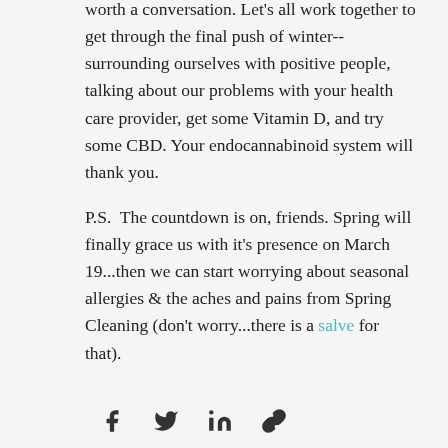worth a conversation. Let's all work together to get through the final push of winter--surrounding ourselves with positive people, talking about our problems with your health care provider, get some Vitamin D, and try some CBD. Your endocannabinoid system will thank you.
P.S.  The countdown is on, friends. Spring will finally grace us with it's presence on March 19...then we can start worrying about seasonal allergies & the aches and pains from Spring Cleaning (don't worry...there is a salve for that).